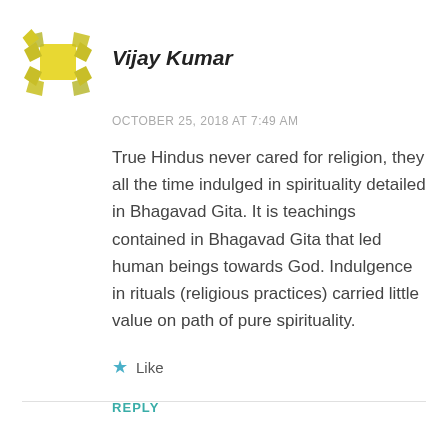[Figure (illustration): Yellow geometric avatar logo with angular shapes forming a square/book-like icon]
Vijay Kumar
OCTOBER 25, 2018 AT 7:49 AM
True Hindus never cared for religion, they all the time indulged in spirituality detailed in Bhagavad Gita. It is teachings contained in Bhagavad Gita that led human beings towards God. Indulgence in rituals (religious practices) carried little value on path of pure spirituality.
★ Like
REPLY